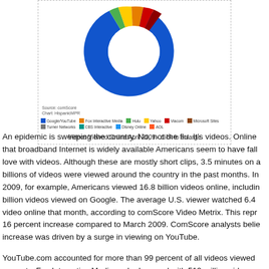[Figure (donut-chart): Videos Viewed Online April 2009]
Videos Viewed Online April 2009 - click to enlarge
An epidemic is sweeping the country. No, not the flu. It's videos. Online that broadband Internet is widely available Americans seem to have fall love with videos. Although these are mostly short clips, 3.5 minutes on a billions of videos were viewed around the country in the past months. In 2009, for example, Americans viewed 16.8 billion videos online, includin billion videos viewed on Google. The average U.S. viewer watched 6.4 video online that month, according to comScore Video Metrix. This repr 16 percent increase compared to March 2009. ComScore analysts belie increase was driven by a surge in viewing on YouTube.
YouTube.com accounted for more than 99 percent of all videos viewed property. Fox Interactive Media ranked second with 519 million video